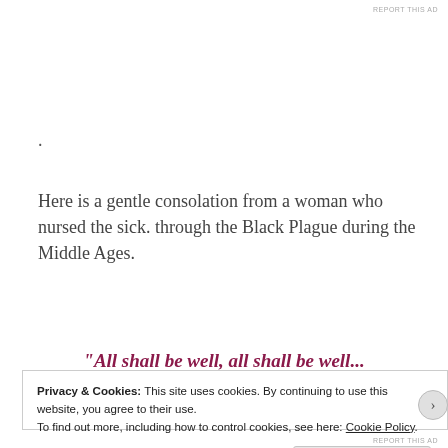REPORT THIS AD
.
Here is a gentle consolation from a woman who nursed the sick. through the Black Plague during the Middle Ages.
“All shall be well, all shall be well... For there is a Force of Love moving through the universe
Privacy & Cookies: This site uses cookies. By continuing to use this website, you agree to their use.
To find out more, including how to control cookies, see here: Cookie Policy
Close and accept
REPORT THIS AD